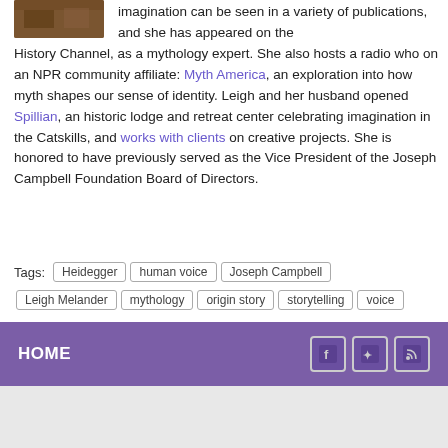[Figure (photo): Small photo/image in upper left corner, brownish color]
imagination can be seen in a variety of publications, and she has appeared on the History Channel, as a mythology expert. She also hosts a radio who on an NPR community affiliate: Myth America, an exploration into how myth shapes our sense of identity. Leigh and her husband opened Spillian, an historic lodge and retreat center celebrating imagination in the Catskills, and works with clients on creative projects. She is honored to have previously served as the Vice President of the Joseph Campbell Foundation Board of Directors.
Tags: Heidegger  human voice  Joseph Campbell  Leigh Melander  mythology  origin story  storytelling  voice
HOME